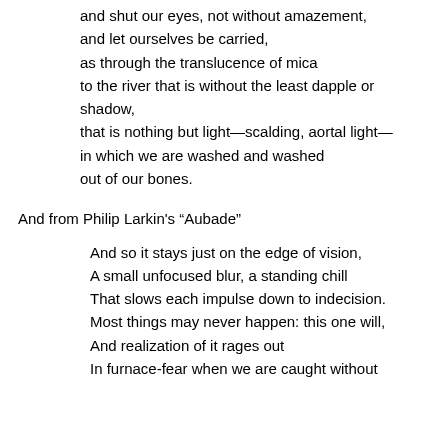and shut our eyes, not without amazement,
and let ourselves be carried,
as through the translucence of mica
to the river that is without the least dapple or shadow,
that is nothing but light—scalding, aortal light—
in which we are washed and washed
out of our bones.
And from Philip Larkin's “Aubade”
And so it stays just on the edge of vision,
A small unfocused blur, a standing chill
That slows each impulse down to indecision.
Most things may never happen: this one will,
And realization of it rages out
In furnace-fear when we are caught without